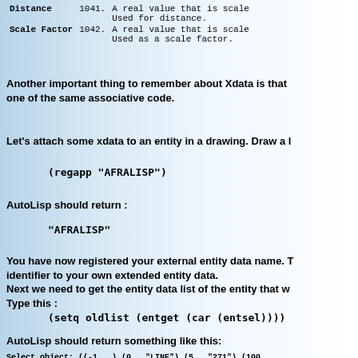| Distance | 1041. | A real value that is scale Used for distance. |
| Scale Factor | 1042. | A real value that is scale Used as a scale factor. |
Another important thing to remember about Xdata is that one of the same associative code.
Let's attach some xdata to an entity in a drawing. Draw a l
AutoLisp should return :
You have now registered your external entity data name. T identifier to your own extended entity data.
Next we need to get the entity data list of the entity that w
Type this :
AutoLisp should return something like this:
Select object: ((-1 . ) (0 . "LINE") (5 . "271") (100 . "AcDbEntity") (67 . 0) (8 . "0") (100 . "AcDbLine") (10 . 672.362 497.304 0.0) (210 0.0 0.0 1.0))